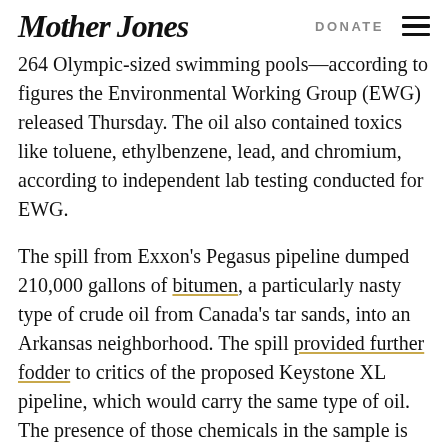Mother Jones  DONATE
264 Olympic-sized swimming pools—according to figures the Environmental Working Group (EWG) released Thursday. The oil also contained toxics like toluene, ethylbenzene, lead, and chromium, according to independent lab testing conducted for EWG.
The spill from Exxon's Pegasus pipeline dumped 210,000 gallons of bitumen, a particularly nasty type of crude oil from Canada's tar sands, into an Arkansas neighborhood. The spill provided further fodder to critics of the proposed Keystone XL pipeline, which would carry the same type of oil. The presence of those chemicals in the sample is not a surprise, really; they are found in most forms of